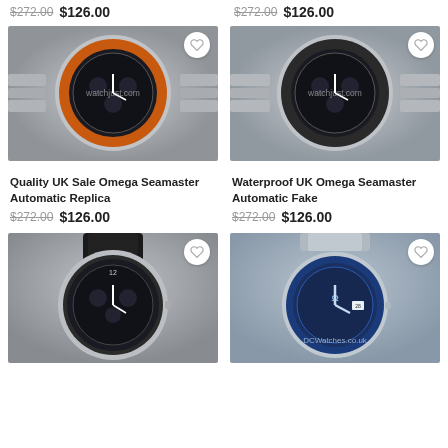$272.00 $126.00
$272.00 $126.00
[Figure (photo): Omega Seamaster watch with orange bezel and metal bracelet, watchjust.com watermark]
[Figure (photo): Omega Seamaster watch with black bezel and metal bracelet, watchjust.com watermark]
Quality UK Sale Omega Seamaster Automatic Replica
Waterproof UK Omega Seamaster Automatic Fake
$272.00 $126.00
$272.00 $126.00
[Figure (photo): Omega Seamaster watch with black leather strap, partial view]
[Figure (photo): Omega Seamaster watch with blue bezel and metal bracelet, DCWatches.co.uk watermark]